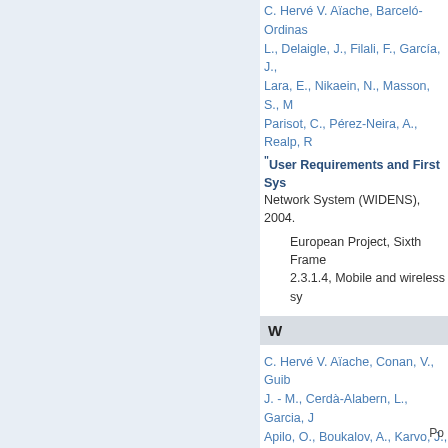C. Hervé V. Aïache, Barceló-Ordinas, L., Delaigle, J., Filali, F., García, J., Lara, E., Nikaein, N., Masson, S., M... Parisot, C., Pérez-Neira, A., Realp, R...
"User Requirements and First Sys...
Network System (WIDENS), 2004.
European Project, Sixth Frame... 2.3.1.4, Mobile and wireless sy...
W
C. Hervé V. Aïache, Conan, V., Guib... J. - M., Cerdà-Alabern, L., Garcia, J... Apilo, O., Boukalov, A., Karvo, J., Ko... J., Blondia, C., de Cleyn, P., Van de...
Ad-Hoc Network for Public Safety...
Summit, Dresden, Germany, 2005.
Po